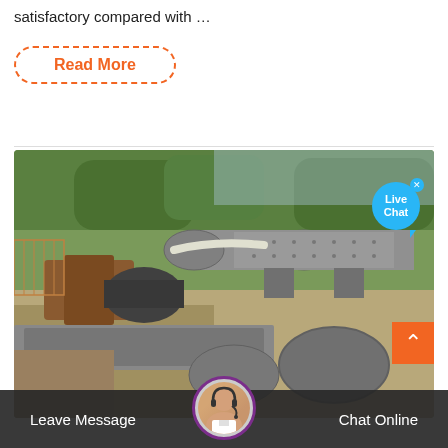satisfactory compared with …
Read More
[Figure (photo): Industrial mining/milling machinery site showing large cylindrical ball mill and conveyor equipment on a sandy ground with green trees in background. A live chat bubble overlay is visible in the top right corner.]
Leave Message
Chat Online
What is Compression Testing?